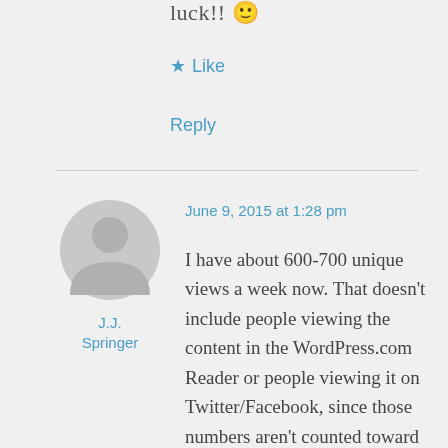luck!! 🙂
★ Like
Reply
[Figure (illustration): Gray circular avatar placeholder with silhouette of a person (head and shoulders)]
J.J. Springer
June 9, 2015 at 1:28 pm
I have about 600-700 unique views a week now. That doesn't include people viewing the content in the WordPress.com Reader or people viewing it on Twitter/Facebook, since those numbers aren't counted toward the